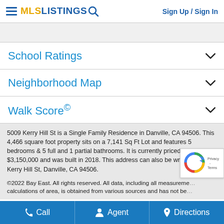Sign Up / Sign In
School Ratings
Neighborhood Map
Walk Score©
5009 Kerry Hill St is a Single Family Residence in Danville, CA 94506. This 4,466 square foot property sits on a 7,141 Sq Ft Lot and features 5 bedrooms & 5 full and 1 partial bathrooms. It is currently priced at $3,150,000 and was built in 2018. This address can also be written as 5009 Kerry Hill St, Danville, CA 94506.
©2022 Bay East. All rights reserved. All data, including all measurements and calculations of area, is obtained from various sources and has not be...
Call   Agent   Directions